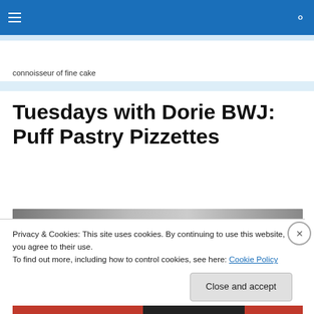≡  [navigation]  🔍
connoisseur of fine cake
Tuesdays with Dorie BWJ: Puff Pastry Pizzettes
Privacy & Cookies: This site uses cookies. By continuing to use this website, you agree to their use.
To find out more, including how to control cookies, see here: Cookie Policy
Close and accept